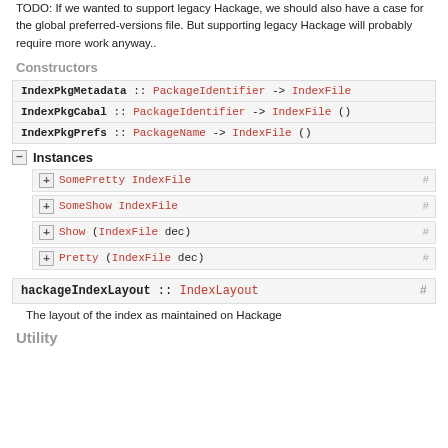TODO: If we wanted to support legacy Hackage, we should also have a case for the global preferred-versions file. But supporting legacy Hackage will probably require more work anyway..
Constructors
| IndexPkgMetadata :: PackageIdentifier -> IndexFile |
| IndexPkgCabal :: PackageIdentifier -> IndexFile () |
| IndexPkgPrefs :: PackageName -> IndexFile () |
Instances
SomePretty IndexFile  #
SomeShow IndexFile  #
Show (IndexFile dec)  #
Pretty (IndexFile dec)  #
hackageIndexLayout :: IndexLayout  #
The layout of the index as maintained on Hackage
Utility